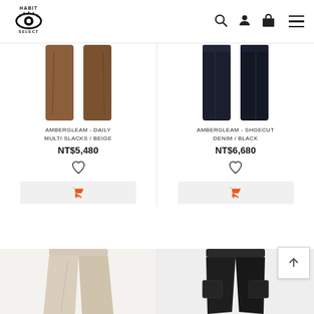HABIT SELECT — navigation header with logo, search, account, cart, and menu icons
[Figure (photo): Brown multi slacks pants product photo (partial, top cropped)]
AMBERGLEAM - DAILY MULTI SLACKS / BEIGE
NT$5,480
[Figure (photo): Dark navy/black shoecut denim jeans product photo (partial, top cropped)]
AMBERGLEAM - SHOECUT DENIM / BLACK
NT$6,680
[Figure (photo): Beige/cream wide-leg pants product photo (bottom section visible)]
[Figure (photo): Black cargo/balloon pants product photo (bottom section visible)]